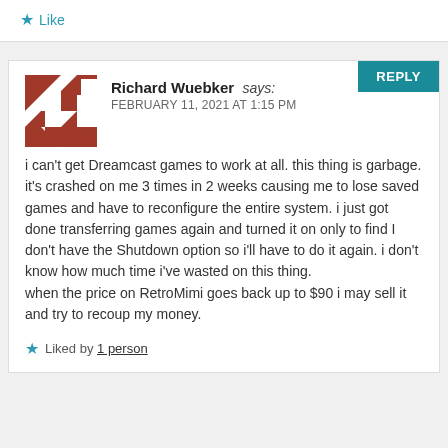Like
Richard Wuebker says:
FEBRUARY 11, 2021 AT 1:15 PM
i can't get Dreamcast games to work at all. this thing is garbage. it's crashed on me 3 times in 2 weeks causing me to lose saved games and have to reconfigure the entire system. i just got done transferring games again and turned it on only to find I don't have the Shutdown option so i'll have to do it again. i don't know how much time i've wasted on this thing.
when the price on RetroMimi goes back up to $90 i may sell it and try to recoup my money.
Liked by 1 person